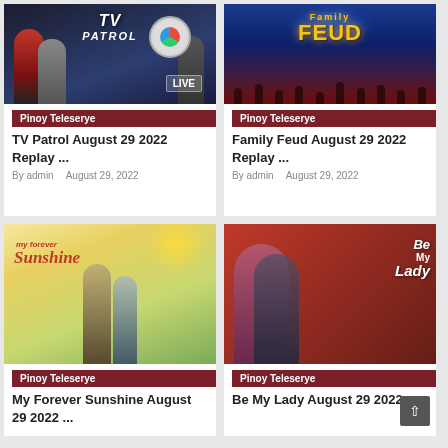[Figure (screenshot): TV Patrol LIVE show thumbnail with news anchors and TV Patrol logo]
Pinoy Teleserye
TV Patrol August 29 2022 Replay ...
By admin    August 29, 2022
[Figure (screenshot): Family Feud show thumbnail with logo and audience]
Pinoy Teleserye
Family Feud August 29 2022 Replay ...
By admin    August 29, 2022
[Figure (screenshot): My Forever Sunshine Korean drama poster with couple in field]
Pinoy Teleserye
My Forever Sunshine August 29 2022 ...
[Figure (screenshot): Be My Lady Philippine teleserye poster with couple embracing on red background]
Pinoy Teleserye
Be My Lady August 29 2022 ...